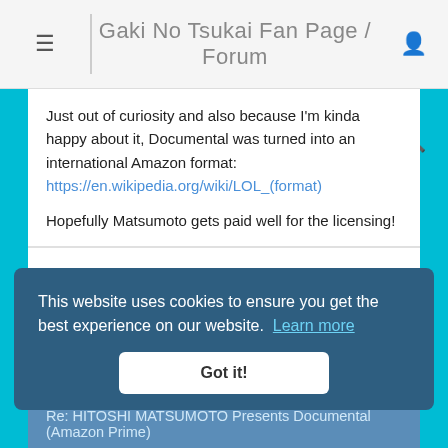Gaki No Tsukai Fan Page / Forum
Just out of curiosity and also because I'm kinda happy about it, Documental was turned into an international Amazon format:
https://en.wikipedia.org/wiki/LOL_(format)

Hopefully Matsumoto gets paid well for the licensing!
These users thanked the author Ap2000 for the post:
ErnieYoung (26.04.2022, 19:01)
Re: HITOSHI MATSUMOTO Presents Documental (Amazon Prime)
This website uses cookies to ensure you get the best experience on our website.  Learn more
Got it!